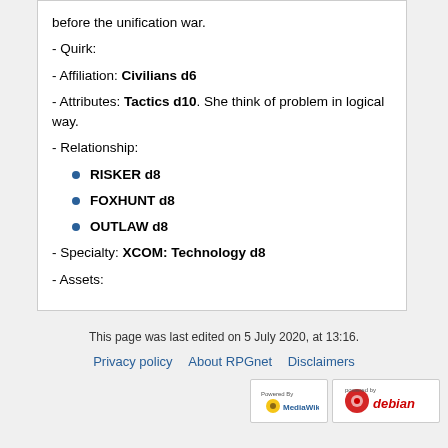before the unification war.
- Quirk:
- Affiliation: Civilians d6
- Attributes: Tactics d10. She think of problem in logical way.
- Relationship:
RISKER d8
FOXHUNT d8
OUTLAW d8
- Specialty: XCOM: Technology d8
- Assets:
This page was last edited on 5 July 2020, at 13:16.
Privacy policy · About RPGnet · Disclaimers